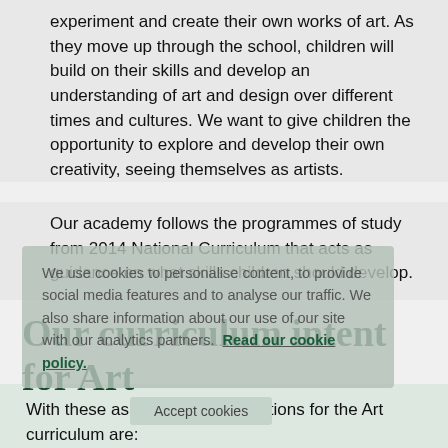experiment and create their own works of art. As they move up through the school, children will build on their skills and develop an understanding of art and design over different times and cultures. We want to give children the opportunity to explore and develop their own creativity, seeing themselves as artists.
Our academy follows the programmes of study from 2014 National Curriculum that acts as guidance on what skills children should develop.
We use cookies to personalise content, to provide social media features and to analyse our traffic. We also share information about our use of our site with our analytics partners. Read our cookie policy.
Our curriculum intent for Art
With these aspirations, our intentions for the Art curriculum are: